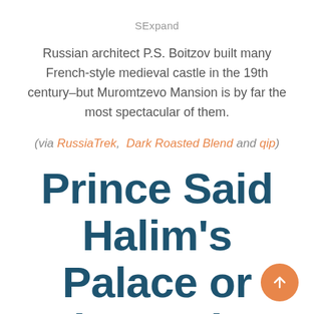SExpand
Russian architect P.S. Boitzov built many French-style medieval castle in the 19th century–but Muromtzevo Mansion is by far the most spectacular of them.
(via RussiaTrek, Dark Roasted Blend and qip)
Prince Said Halim's Palace or (wrongly